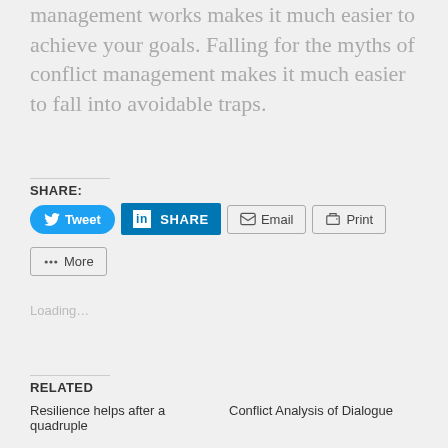management works makes it much easier to achieve your goals. Falling for the myths of conflict management makes it much easier to fall into avoidable traps.
SHARE:
Tweet
SHARE
Email
Print
More
Loading...
RELATED
Resilience helps after a quadruple
Conflict Analysis of Dialogue